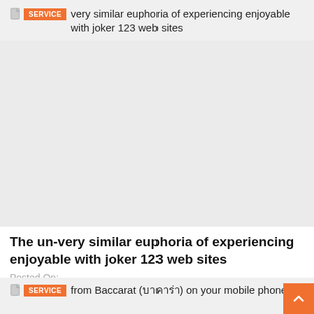SERVICE  very similar euphoria of experiencing enjoyable with joker 123 web sites
[Figure (other): Large gray placeholder image area]
The un-very similar euphoria of experiencing enjoyable with joker 123 web sites
Posted On:
SERVICE  from Baccarat (บาคาร่า) on your mobile phone.